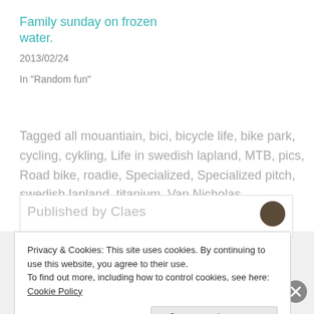Family sunday on frozen water.
2013/02/24
In "Random fun"
Tagged all mouantiain, bici, bicycle life, bike park, cycling, cykling, Life in swedish lapland, MTB, pics, Road bike, roadie, Specialized, Specialized pitch, swedish lapland, titanium, Van Nicholas
[Figure (other): Card box with 'Published by Claes' text and avatar circle]
Privacy & Cookies: This site uses cookies. By continuing to use this website, you agree to their use. To find out more, including how to control cookies, see here: Cookie Policy
Close and accept
Advertisements